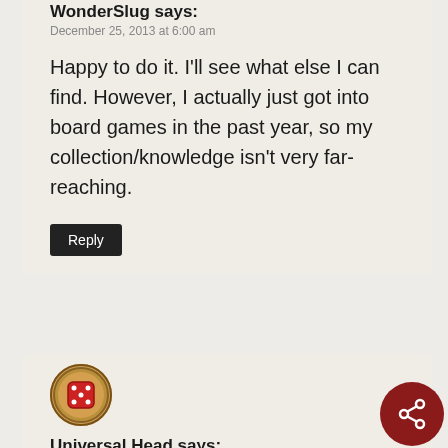WonderSlug says:
December 25, 2013 at 6:00 am
Happy to do it. I'll see what else I can find. However, I actually just got into board games in the past year, so my collection/knowledge isn't very far-reaching.
Reply
[Figure (logo): Circular badge/logo for Universal Head — red dice icon in a brown circular border]
Universal Head says:
December 25, 2013 at 10:54 pm
[Figure (logo): Dark red circular share button with share/network icon in white]